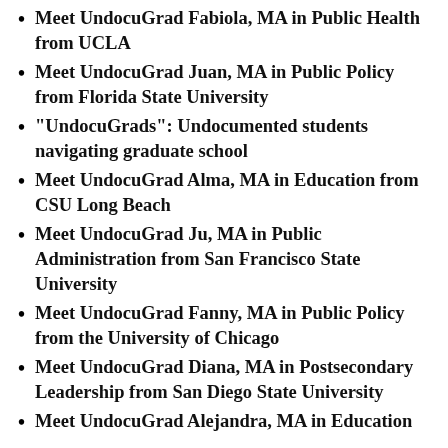Meet UndocuGrad Fabiola, MA in Public Health from UCLA
Meet UndocuGrad Juan, MA in Public Policy from Florida State University
“UndocuGrads”: Undocumented students navigating graduate school
Meet UndocuGrad Alma, MA in Education from CSU Long Beach
Meet UndocuGrad Ju, MA in Public Administration from San Francisco State University
Meet UndocuGrad Fanny, MA in Public Policy from the University of Chicago
Meet UndocuGrad Diana, MA in Postsecondary Leadership from San Diego State University
Meet UndocuGrad Alejandra, MA in Education